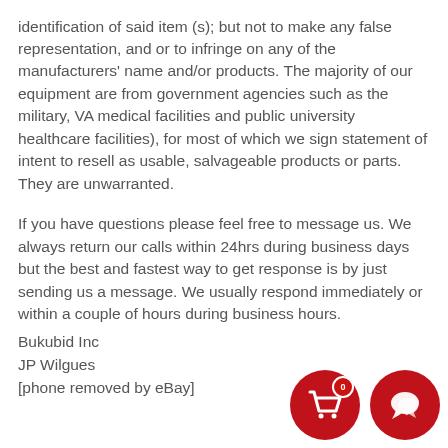identification of said item (s); but not to make any false representation, and or to infringe on any of the manufacturers' name and/or products. The majority of our equipment are from government agencies such as the military, VA medical facilities and public university healthcare facilities), for most of which we sign statement of intent to resell as usable, salvageable products or parts. They are unwarranted.
If you have questions please feel free to message us. We always return our calls within 24hrs during business days but the best and fastest way to get response is by just sending us a message. We usually respond immediately or within a couple of hours during business hours.
Bukubid Inc
JP Wilgues
[phone removed by eBay]
[Figure (other): Two red circular buttons: a shopping cart icon with a badge showing '0', and a speech bubble / chat icon.]